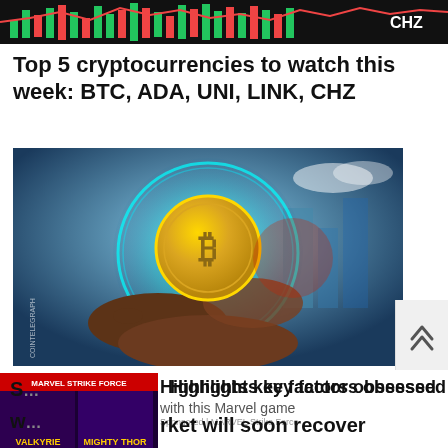[Figure (screenshot): Top banner showing cryptocurrency chart with red/green candlestick data and CHZ label]
Top 5 cryptocurrencies to watch this week: BTC, ADA, UNI, LINK, CHZ
[Figure (illustration): Illustration of hands holding a glowing cryptocurrency coin in a crystal ball sphere with cyan glow and futuristic background]
[Figure (screenshot): Bottom overlapping area: advertisement for MARVEL Strike Force game showing Valkyrie and Mighty Thor characters overlaid with article text 'Highlights key factors obsessed with this Marvel game market will soon recover' and sponsored label]